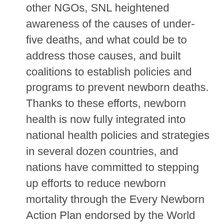other NGOs, SNL heightened awareness of the causes of under-five deaths, and what could be to address those causes, and built coalitions to establish policies and programs to prevent newborn deaths. Thanks to these efforts, newborn health is now fully integrated into national health policies and strategies in several dozen countries, and nations have committed to stepping up efforts to reduce newborn mortality through the Every Newborn Action Plan endorsed by the World Health Assembly in 2014. While Save the Children is one of many partners in this global effort, David and the SNL team played a leadership role in building the partnerships to create evidence, conduct advocacy, and set the stage for achieving results for children at scale.